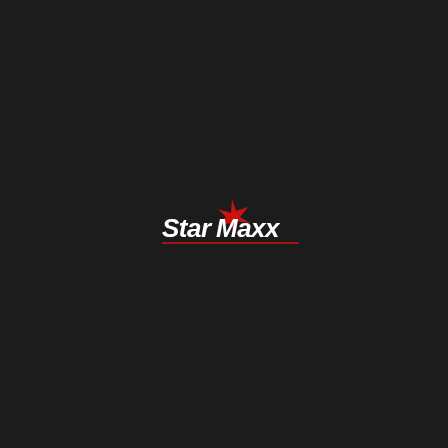[Figure (logo): Star Maxx brand logo on a dark background. White italic script text reading 'Star Maxx' with a red four-pointed star above the letters, and a thin red horizontal underline beneath the text.]